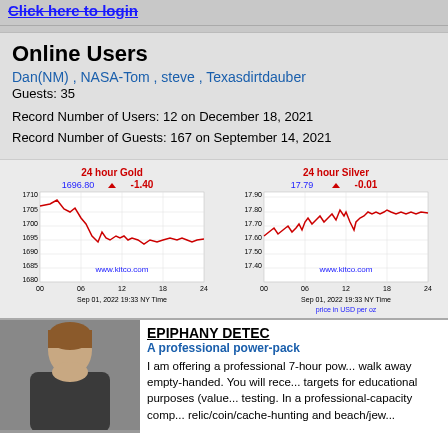Click here to login
Online Users
Dan(NM) , NASA-Tom , steve , Texasdirtdauber
Guests: 35
Record Number of Users: 12 on December 18, 2021
Record Number of Guests: 167 on September 14, 2021
[Figure (continuous-plot): 24 hour Gold price chart showing price around 1696.80, down -1.40. Chart from www.kitco.com, Sep 01, 2022 19:33 NY Time. Y-axis from 1680 to 1710.]
[Figure (continuous-plot): 24 hour Silver price chart showing price at 17.79, down -0.01. Chart from www.kitco.com, Sep 01, 2022 19:33 NY Time. Price in USD per oz. Y-axis from 17.40 to 17.90.]
EPIPHANY DETEC
A professional power-pack
I am offering a professional 7-hour pow... walk away empty-handed. You will rece... targets for educational purposes (value... testing. In a professional-capacity comp... relic/coin/cache-hunting and beach/jew...